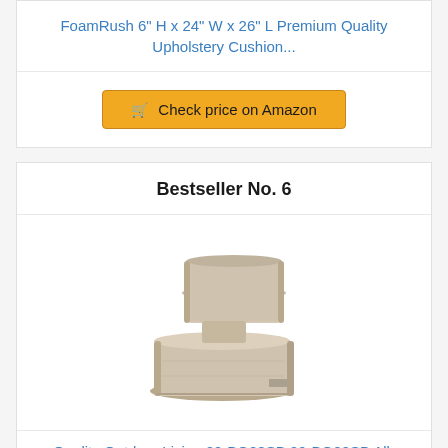FoamRush 6" H x 24" W x 26" L Premium Quality Upholstery Cushion...
[Figure (other): Button: Check price on Amazon with shopping cart icon]
Bestseller No. 6
[Figure (photo): Beige/tan outdoor chair cushion set with back cushion and seat cushion, shown from a front-angled view]
Quality Outdoor Living 29-BG23SB 29-BG02SB All-